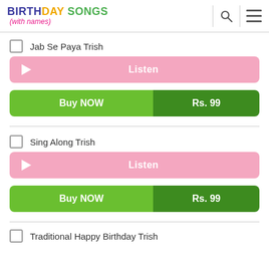BIRTHDAY SONGS (with names)
Jab Se Paya Trish
Listen
Buy NOW  Rs. 99
Sing Along Trish
Listen
Buy NOW  Rs. 99
Traditional Happy Birthday Trish